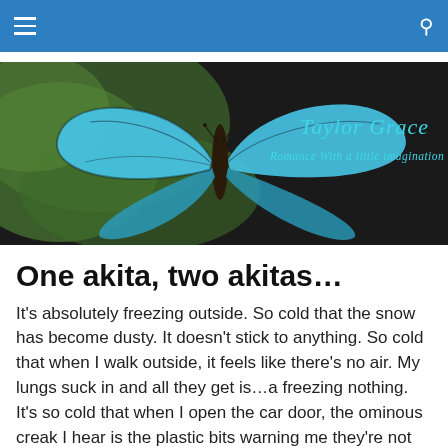Navigation bar with hamburger menu and search icon
[Figure (illustration): Blog header banner showing a large blue morpho butterfly on green leaves with text 'Taylor Grace' and 'Romance With a little imagination' in teal cursive font on dark background]
One akita, two akitas…
It's absolutely freezing outside. So cold that the snow has become dusty. It doesn't stick to anything. So cold that when I walk outside, it feels like there's no air. My lungs suck in and all they get is…a freezing nothing. It's so cold that when I open the car door, the ominous creak I hear is the plastic bits warning me they're not doing so well and